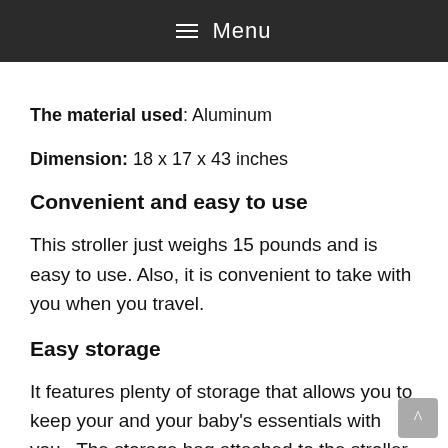≡ Menu
The material used: Aluminum
Dimension: 18 x 17 x 43 inches
Convenient and easy to use
This stroller just weighs 15 pounds and is easy to use. Also, it is convenient to take with you when you travel.
Easy storage
It features plenty of storage that allows you to keep your and your baby's essentials with you.  The storage bag attached to the stroller